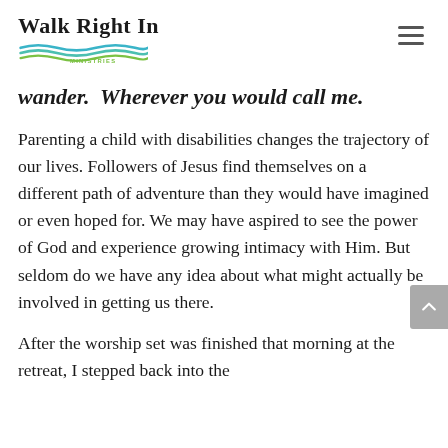Walk Right In Ministries
wander. Wherever you would call me.
Parenting a child with disabilities changes the trajectory of our lives. Followers of Jesus find themselves on a different path of adventure than they would have imagined or even hoped for. We may have aspired to see the power of God and experience growing intimacy with Him. But seldom do we have any idea about what might actually be involved in getting us there.
After the worship set was finished that morning at the retreat, I stepped back into the